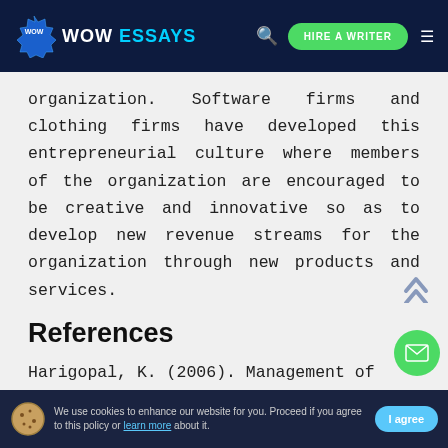WOW ESSAYS | HIRE A WRITER
organization. Software firms and clothing firms have developed this entrepreneurial culture where members of the organization are encouraged to be creative and innovative so as to develop new revenue streams for the organization through new products and services.
References
Harigopal, K. (2006). Management of organizational change: Leveraging transformation. New Delhi: Response Book
We use cookies to enhance our website for you. Proceed if you agree to this policy or learn more about it. | I agree